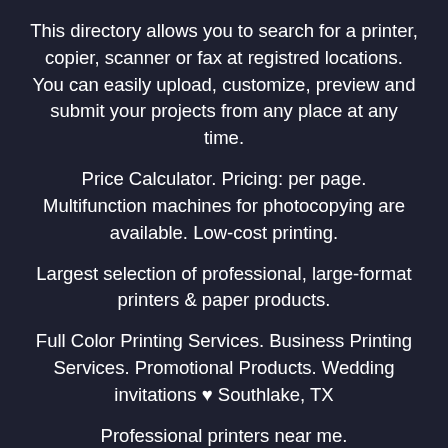This directory allows you to search for a printer, copier, scanner or fax at registred locations. You can easily upload, customize, preview and submit your projects from any place at any time.
Price Calculator. Pricing: per page. Multifunction machines for photocopying are available. Low-cost printing.
Largest selection of professional, large-format printers & paper products.
Full Color Printing Services. Business Printing Services. Promotional Products. Wedding invitations ♥ Southlake, TX
Professional printers near me.
Banners, Books, Catalogs and Booklets, Brochures,